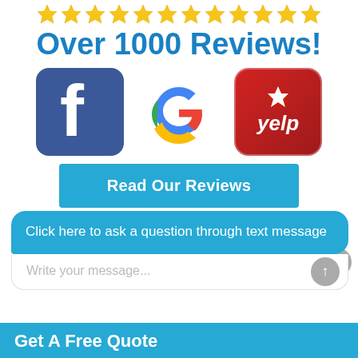[Figure (illustration): Row of gold/yellow star icons across the top]
Over 1000 Reviews!
[Figure (logo): Facebook, Google, and Yelp logos side by side]
Read Our Reviews
Click here to ask a question through text message
Write your message...
Get A Free Quote